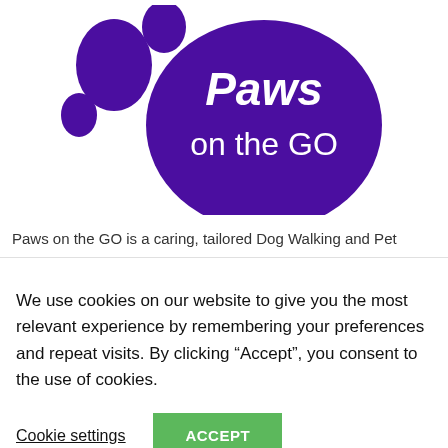[Figure (logo): Paws on the GO logo — purple paw print shape with white italic text 'Paws on the GO' inside the large pad, and smaller purple oval toe pads to the upper left]
Paws on the GO is a caring, tailored Dog Walking and Pet
We use cookies on our website to give you the most relevant experience by remembering your preferences and repeat visits. By clicking “Accept”, you consent to the use of cookies.
Cookie settings
ACCEPT